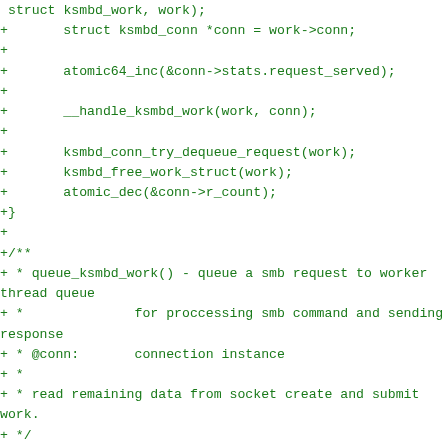struct ksmbd_work, work);
+       struct ksmbd_conn *conn = work->conn;
+
+       atomic64_inc(&conn->stats.request_served);
+
+       __handle_ksmbd_work(work, conn);
+
+       ksmbd_conn_try_dequeue_request(work);
+       ksmbd_free_work_struct(work);
+       atomic_dec(&conn->r_count);
+}
+
+/**
+ * queue_ksmbd_work() - queue a smb request to worker thread queue
+ *              for proccessing smb command and sending response
+ * @conn:       connection instance
+ * *
+ * read remaining data from socket create and submit work.
+ */
+static int queue_ksmbd_work(struct ksmbd_conn *conn)
+{
+       struct ksmbd_work *work;
+
+       work = ksmbd_alloc_work_struct();
+       if (!work) {
+               pr_err("allocation for work failed\n");
+               return -ENOMEM;